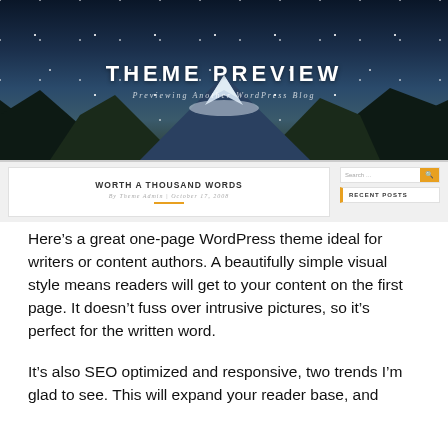[Figure (screenshot): Screenshot of a WordPress theme preview page showing a dark hero banner with mountain/night sky image titled 'THEME PREVIEW' with subtitle 'Previewing Another WordPress Blog', below which is a blog post preview area showing 'WORTH A THOUSAND WORDS' by Theme Admin | October 17, 2008, alongside a sidebar with search bar and Recent Posts section]
Here’s a great one-page WordPress theme ideal for writers or content authors. A beautifully simple visual style means readers will get to your content on the first page. It doesn’t fuss over intrusive pictures, so it’s perfect for the written word.
It’s also SEO optimized and responsive, two trends I’m glad to see. This will expand your reader base, and